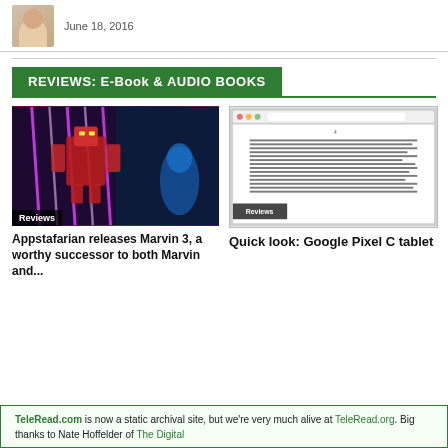June 18, 2016
REVIEWS: E-Book & AUDIO BOOKS
[Figure (photo): Comic book image showing Optimus Prime or similar robot behind bars with pink/purple energy beams, dark sci-fi scene]
Reviews
Appstafarian releases Marvin 3, a worthy successor to both Marvin and...
[Figure (screenshot): Screenshot of an e-reader or tablet showing a page of dense text with browser chrome visible at top, labeled Reviews]
Reviews
Quick look: Google Pixel C tablet
TeleRead.com is now a static archival site, but we're very much alive at TeleRead.org. Big thanks to Nate Hoffelder of The Digital...